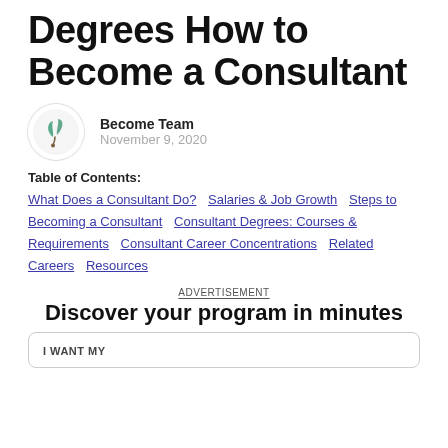Degrees How to Become a Consultant
[Figure (logo): Circular logo with green leaf/plant illustration on white background]
Become Team
November 9, 2020
Table of Contents:
What Does a Consultant Do?
Salaries & Job Growth
Steps to Becoming a Consultant
Consultant Degrees: Courses & Requirements
Consultant Career Concentrations
Related Careers
Resources
ADVERTISEMENT
Discover your program in minutes
I WANT MY